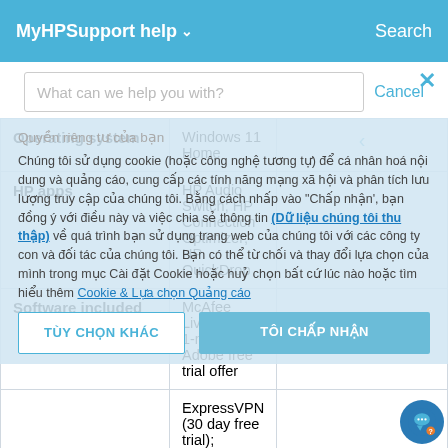MyHPSupport help ∨   Search
What can we help you with?
Cancel
Quyền riêng tư của bạn
Chúng tôi sử dụng cookie (hoặc công nghệ tương tự) để cá nhân hoá nội dung và quảng cáo, cung cấp các tính năng mạng xã hội và phân tích lưu lượng truy cập của chúng tôi. Bằng cách nhấp vào "Chấp nhận', bạn đồng ý với điều này và việc chia sẻ thông tin (Dữ liệu chúng tôi thu thập) về quá trình bạn sử dụng trang web của chúng tôi với các công ty con và đối tác của chúng tôi. Bạn có thể từ chối và thay đổi lựa chọn của mình trong mục Cài đặt Cookie hoặc huỷ chọn bất cứ lúc nào hoặc tìm hiểu thêm Cookie & Lựa chọn Quảng cáo
| Category | Value |  |
| --- | --- | --- |
| Operating system | Windows 11 Home |  |
| HP apps | HP Audio Switch; HP Connection Optimizer; HP QuickDrop |  |
| Software included | McAfee LiveSafe™; 1-month
Adobe free trial offer |  |
|  | ExpressVPN (30 day free trial); |  |